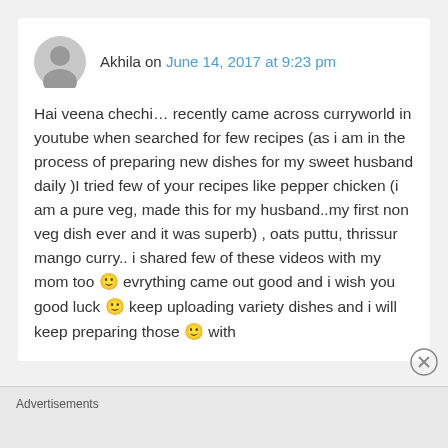Akhila on June 14, 2017 at 9:23 pm
Hai veena chechi… recently came across curryworld in youtube when searched for few recipes (as i am in the process of preparing new dishes for my sweet husband daily )I tried few of your recipes like pepper chicken (i am a pure veg, made this for my husband..my first non veg dish ever and it was superb) , oats puttu, thrissur mango curry.. i shared few of these videos with my mom too 🙂 evrything came out good and i wish you good luck 🙂 keep uploading variety dishes and i will keep preparing those 🙂 with
Advertisements